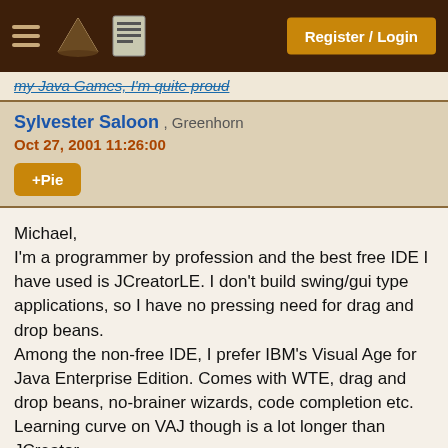Register / Login
my Java Games, I'm quite proud
Sylvester Saloon , Greenhorn
Oct 27, 2001 11:26:00
+Pie
Michael,
I'm a programmer by profession and the best free IDE I have used is JCreatorLE. I don't build swing/gui type applications, so I have no pressing need for drag and drop beans.
Among the non-free IDE, I prefer IBM's Visual Age for Java Enterprise Edition. Comes with WTE, drag and drop beans, no-brainer wizards, code completion etc. Learning curve on VAJ though is a lot longer than JCreator.
jason adam , Chicken Farmer ()
Oct 27, 2001 12:36:00